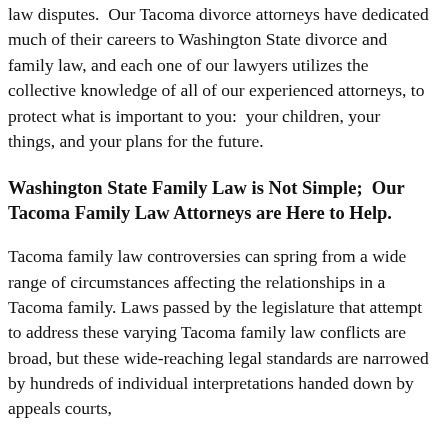law disputes.  Our Tacoma divorce attorneys have dedicated much of their careers to Washington State divorce and family law, and each one of our lawyers utilizes the collective knowledge of all of our experienced attorneys, to protect what is important to you:  your children, your things, and your plans for the future.
Washington State Family Law is Not Simple;  Our Tacoma Family Law Attorneys are Here to Help.
Tacoma family law controversies can spring from a wide range of circumstances affecting the relationships in a Tacoma family. Laws passed by the legislature that attempt to address these varying Tacoma family law conflicts are broad, but these wide-reaching legal standards are narrowed by hundreds of individual interpretations handed down by appeals courts,